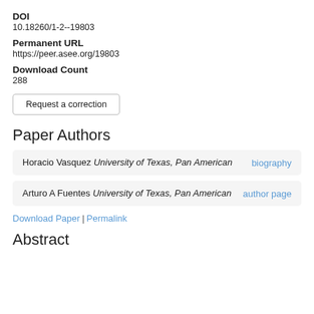DOI
10.18260/1-2--19803
Permanent URL
https://peer.asee.org/19803
Download Count
288
Request a correction
Paper Authors
Horacio Vasquez University of Texas, Pan American  biography
Arturo A Fuentes University of Texas, Pan American  author page
Download Paper | Permalink
Abstract